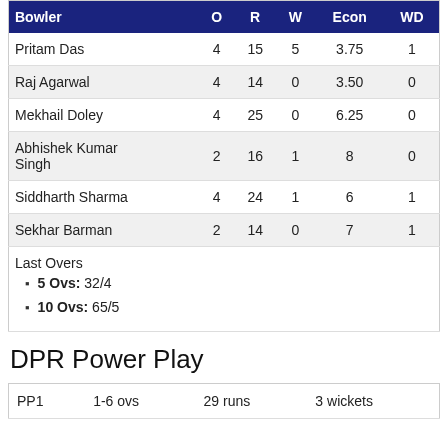| Bowler | O | R | W | Econ | WD |
| --- | --- | --- | --- | --- | --- |
| Pritam Das | 4 | 15 | 5 | 3.75 | 1 |
| Raj Agarwal | 4 | 14 | 0 | 3.50 | 0 |
| Mekhail Doley | 4 | 25 | 0 | 6.25 | 0 |
| Abhishek Kumar Singh | 2 | 16 | 1 | 8 | 0 |
| Siddharth Sharma | 4 | 24 | 1 | 6 | 1 |
| Sekhar Barman | 2 | 14 | 0 | 7 | 1 |
Last Overs
5 Ovs: 32/4
10 Ovs: 65/5
DPR Power Play
| PP1 | 1-6 ovs | 29 runs | 3 wickets |